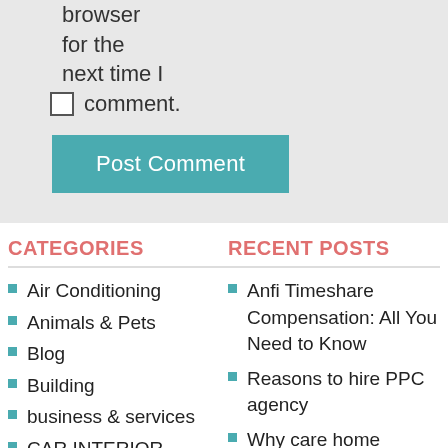browser for the next time I comment.
Post Comment
CATEGORIES
RECENT POSTS
Air Conditioning
Animals & Pets
Blog
Building
business & services
CAR INTERIOR
Career Coaching
Careers
Anfi Timeshare Compensation: All You Need to Know
Reasons to hire PPC agency
Why care home management software are the need of the hour?
Benefits Of Full Boarding Schools UK